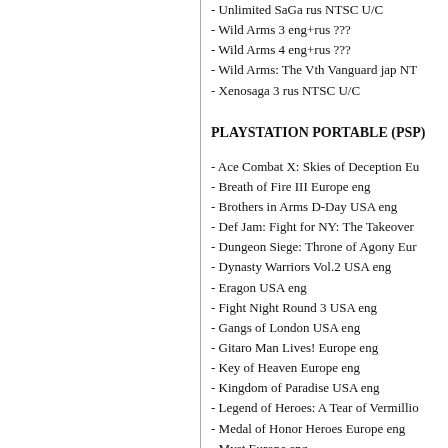- Unlimited SaGa rus NTSC U/C
- Wild Arms 3 eng+rus ???
- Wild Arms 4 eng+rus ???
- Wild Arms: The Vth Vanguard jap NT
- Xenosaga 3 rus NTSC U/C
PLAYSTATION PORTABLE (PSP)
- Ace Combat X: Skies of Deception Eu
- Breath of Fire III Europe eng
- Brothers in Arms D-Day USA eng
- Def Jam: Fight for NY: The Takeover
- Dungeon Siege: Throne of Agony Eur
- Dynasty Warriors Vol.2 USA eng
- Eragon USA eng
- Fight Night Round 3 USA eng
- Gangs of London USA eng
- Gitaro Man Lives! Europe eng
- Key of Heaven Europe eng
- Kingdom of Paradise USA eng
- Legend of Heroes: A Tear of Vermillio
- Medal of Honor Heroes Europe eng
- Myst Europe eng
- NASCAR USA eng
- NBA 07 USA eng
- PoPoLoCrois USA eng
- Prince of Persia Revelatios USA eng
- PRO Evolution Soccer 6 Europe eng
- Ridge Racer Europe eng